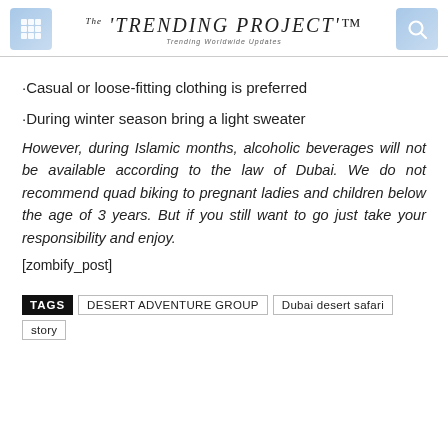The TRENDING PROJECT™ — Trending Worldwide Updates
·Casual or loose-fitting clothing is preferred
·During winter season bring a light sweater
However, during Islamic months, alcoholic beverages will not be available according to the law of Dubai. We do not recommend quad biking to pregnant ladies and children below the age of 3 years. But if you still want to go just take your responsibility and enjoy.
[zombify_post]
TAGS  DESERT ADVENTURE GROUP  Dubai desert safari  story